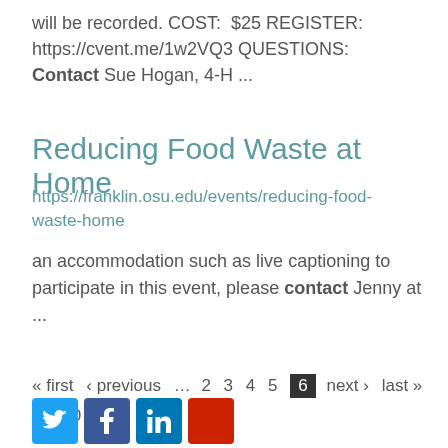will be recorded. COST:  $25 REGISTER: https://cvent.me/1w2VQ3 QUESTIONS: Contact Sue Hogan, 4-H ...
Reducing Food Waste at Home
https://franklin.osu.edu/events/reducing-food-waste-home
an accommodation such as live captioning to participate in this event, please contact Jenny at ...
« first  ‹ previous  …  2  3  4  5  6  next ›  last »  9  10  …